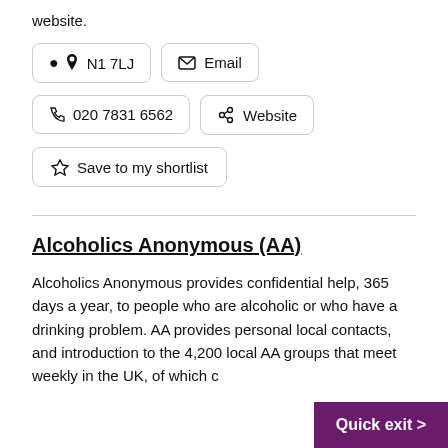website.
📍 N1 7LJ
✉ Email
📞 020 7831 6562
🔗 Website
☆ Save to my shortlist
Alcoholics Anonymous (AA)
Alcoholics Anonymous provides confidential help, 365 days a year, to people who are alcoholic or who have a drinking problem. AA provides personal local contacts, and introduction to the 4,200 local AA groups that meet weekly in the UK, of which c
Quick exit >